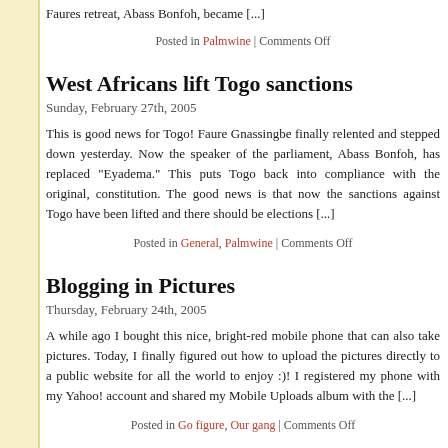Faures retreat, Abass Bonfoh, became [...]
Posted in Palmwine | Comments Off
West Africans lift Togo sanctions
Sunday, February 27th, 2005
This is good news for Togo! Faure Gnassingbe finally relented and stepped down yesterday. Now the speaker of the parliament, Abass Bonfoh, has replaced "Eyadema." This puts Togo back into compliance with the original, constitution. The good news is that now the sanctions against Togo have been lifted and there should be elections [...]
Posted in General, Palmwine | Comments Off
Blogging in Pictures
Thursday, February 24th, 2005
A while ago I bought this nice, bright-red mobile phone that can also take pictures. Today, I finally figured out how to upload the pictures directly to a public website for all the world to enjoy :)! I registered my phone with my Yahoo! account and shared my Mobile Uploads album with the [...]
Posted in Go figure, Our gang | Comments Off